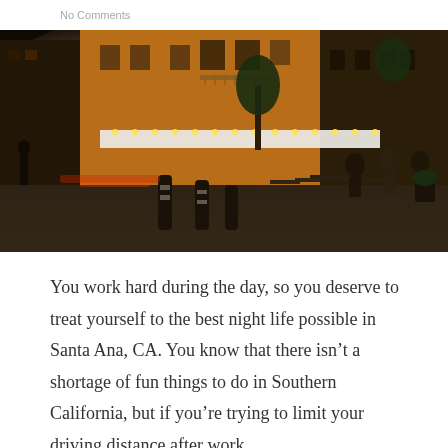No Comments
[Figure (photo): Night scene of an outdoor street café or plaza with warm glowing lights, people sitting at tables, bollards in the foreground, and buildings with balconies in the background.]
You work hard during the day, so you deserve to treat yourself to the best night life possible in Santa Ana, CA. You know that there isn't a shortage of fun things to do in Southern California, but if you're trying to limit your driving distance after work,